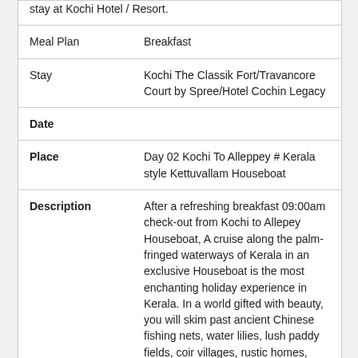stay at Kochi Hotel / Resort.
| Field | Value |
| --- | --- |
| Meal Plan | Breakfast |
| Stay | Kochi The Classik Fort/Travancore Court by Spree/Hotel Cochin Legacy |
| Date |  |
| Place | Day 02 Kochi To Alleppey # Kerala style Kettuvallam Houseboat |
| Description | After a refreshing breakfast 09:00am check-out from Kochi to Allepey Houseboat, A cruise along the palm-fringed waterways of Kerala in an exclusive Houseboat is the most enchanting holiday experience in Kerala. In a world gifted with beauty, you will skim past ancient Chinese fishing nets, water lilies, lush paddy fields, coir villages, rustic homes, |